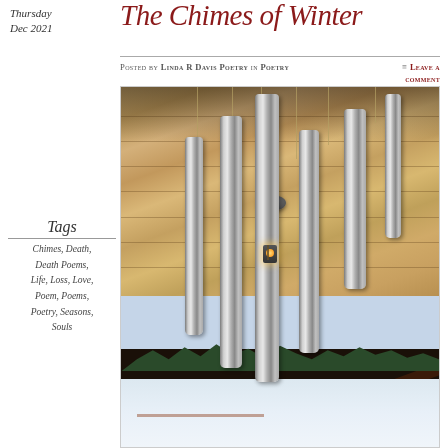Thursday
Dec 2021
The Chimes of Winter
Posted by Linda R Davis Poetry in Poetry
≡ Leave a comment
Tags
Chimes, Death, Death Poems, Life, Loss, Love, Poem, Poems, Poetry, Seasons, Souls
[Figure (photo): Close-up photograph of large silver/metallic wind chimes hanging from a wooden ceiling porch. The chimes are tall cylindrical tubes of varying heights. In the background through an opening, a snowy winter landscape with evergreen trees is visible.]